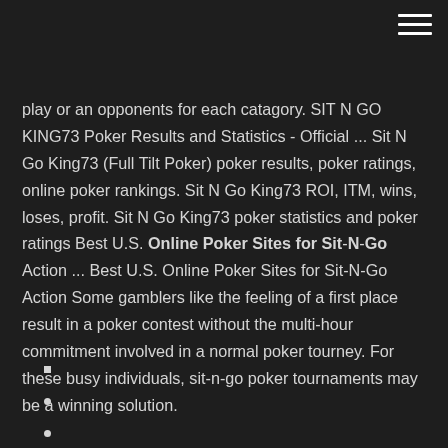play or an opponents for each catagory. SIT N GO KING73 Poker Results and Statistics - Official ... Sit N Go King73 (Full Tilt Poker) poker results, poker ratings, online poker rankings. Sit N Go King73 ROI, ITM, wins, loses, profit. Sit N Go King73 poker statistics and poker ratings Best U.S. Online Poker Sites for Sit-N-Go Action ... Best U.S. Online Poker Sites for Sit-N-Go Action Some gamblers like the feeling of a first place result in a poker contest without the multi-hour commitment involved in a normal poker tourney. For these busy individuals, sit-n-go poker tournaments may be a winning solution.